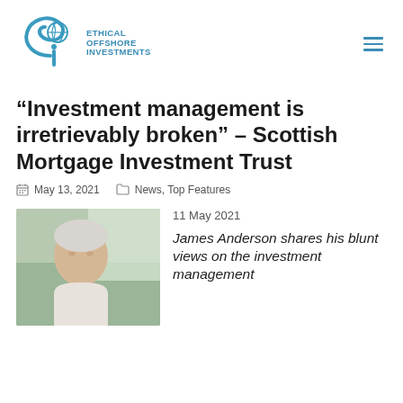[Figure (logo): Ethical Offshore Investments logo – blue swirl 'ei' icon with globe, text ETHICAL OFFSHORE INVESTMENTS in blue]
“Investment management is irretrievably broken” – Scottish Mortgage Investment Trust
May 13, 2021   News, Top Features
11 May 2021
[Figure (photo): Portrait photo of an older man with grey-white hair, wearing a light-colored shirt, against a blurred outdoor background]
James Anderson shares his blunt views on the investment management